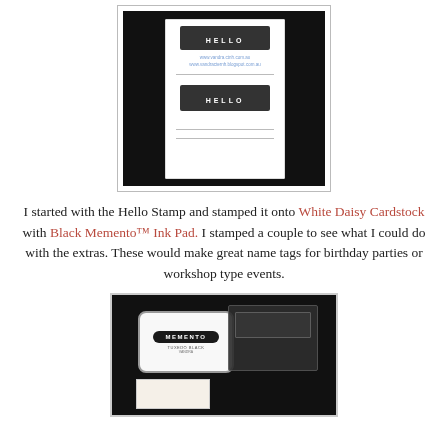[Figure (photo): Photo of white name tag cardstock cards with 'HELLO' stamped in black on dark banner, showing two cards stacked with watermark URLs, on a dark background.]
I started with the Hello Stamp and stamped it onto White Daisy Cardstock with Black Memento™ Ink Pad. I stamped a couple to see what I could do with the extras. These would make great name tags for birthday parties or workshop type events.
[Figure (photo): Photo of a white Memento ink pad and a clear stamp block on a dark background, with a card at the bottom.]